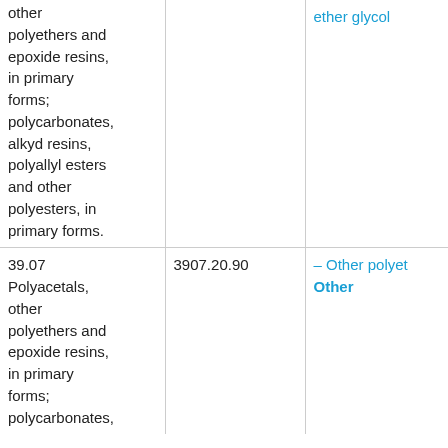| other polyethers and epoxide resins, in primary forms; polycarbonates, alkyd resins, polyallyl esters and other polyesters, in primary forms. |  | ether glycol |
| 39.07 Polyacetals, other polyethers and epoxide resins, in primary forms; polycarbonates, | 3907.20.90 | – Other polyet Other |